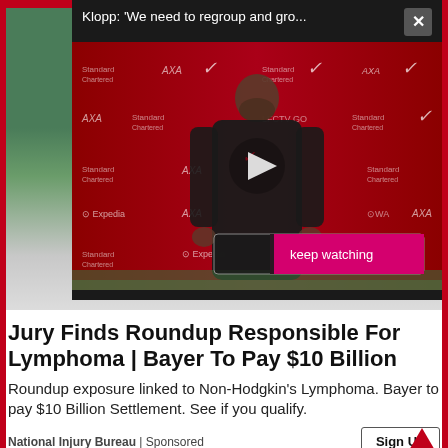[Figure (screenshot): Video player popup overlay showing a man (Jürgen Klopp) at a Liverpool FC press conference backdrop. Title reads: "Klopp: 'We need to regroup and gro...'" with a close (X) button and a 'keep watching' button visible. Play button triangle shown in center of video frame.]
Jury Finds Roundup Responsible For Lymphoma | Bayer To Pay $10 Billion
Roundup exposure linked to Non-Hodgkin's Lymphoma. Bayer to pay $10 Billion Settlement. See if you qualify.
National Injury Bureau | Sponsored
Sign Up